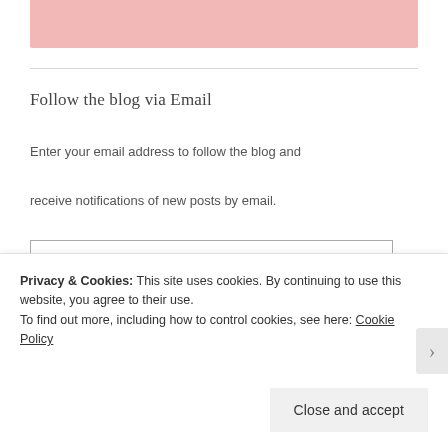[Figure (other): Pink decorative banner at top of page]
Follow the blog via Email
Enter your email address to follow the blog and receive notifications of new posts by email.
[Figure (other): Email address input field with placeholder text 'Enter your email address']
Privacy & Cookies: This site uses cookies. By continuing to use this website, you agree to their use.
To find out more, including how to control cookies, see here: Cookie Policy
Close and accept